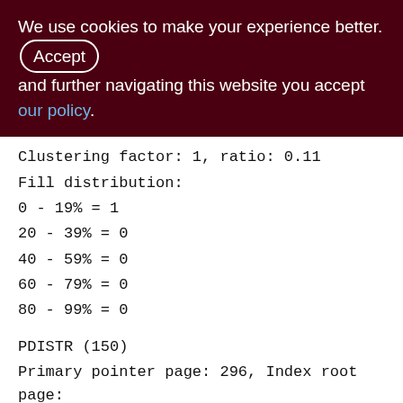We use cookies to make your experience better. By accepting and further navigating this website you accept our policy.
Clustering factor: 1, ratio: 0.11
Fill distribution:
0 - 19% = 1
20 - 39% = 0
40 - 59% = 0
60 - 79% = 0
80 - 99% = 0
PDISTR (150)
Primary pointer page: 296, Index root page: 297
Total formats: 1, used formats: 1
Average record length: 18.96, total